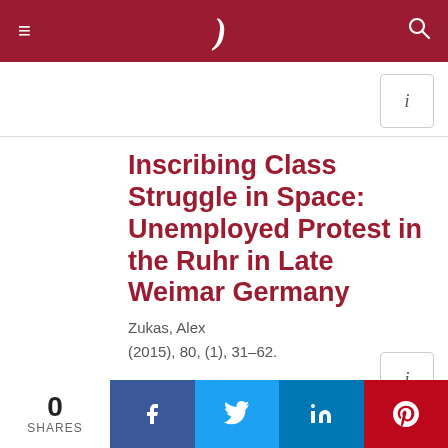≡  )  🔍
Inscribing Class Struggle in Space: Unemployed Protest in the Ruhr in Late Weimar Germany
Zukas, Alex
(2015), 80, (1), 31–62.
Gustav Hittler, Bund …